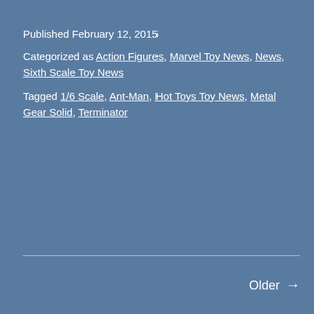Published February 12, 2015
Categorized as Action Figures, Marvel Toy News, News, Sixth Scale Toy News
Tagged 1/6 Scale, Ant-Man, Hot Toys Toy News, Metal Gear Solid, Terminator
Older →